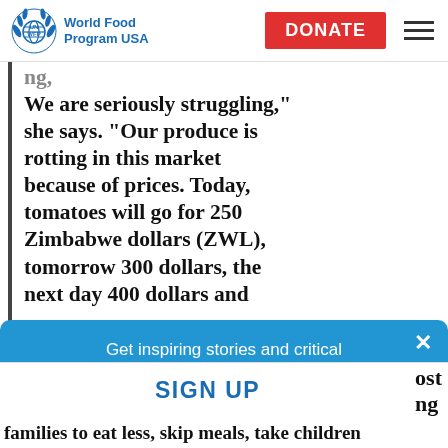UN WFP World Food Program USA | DONATE
We are seriously struggling,” she says. “Our produce is rotting in this market because of prices. Today, tomatoes will go for 250 Zimbabwe dollars (ZWL), tomorrow 300 dollars, the next day 400 dollars and
Get inspiring stories and critical news updates on fighting global hunger.
SIGN UP
ost ng
families to eat less, skip meals, take children